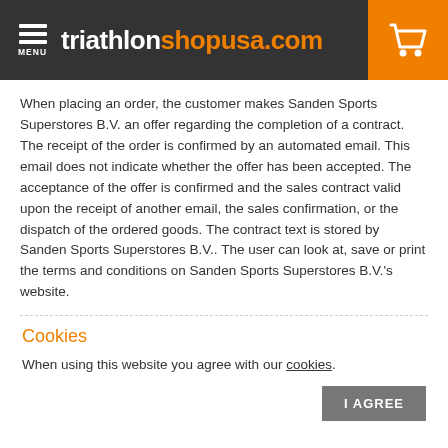triathlon shopusa.com
When placing an order, the customer makes Sanden Sports Superstores B.V. an offer regarding the completion of a contract. The receipt of the order is confirmed by an automated email. This email does not indicate whether the offer has been accepted. The acceptance of the offer is confirmed and the sales contract valid upon the receipt of another email, the sales confirmation, or the dispatch of the ordered goods. The contract text is stored by Sanden Sports Superstores B.V.. The user can look at, save or print the terms and conditions on Sanden Sports Superstores B.V.'s website.
Cookies
When using this website you agree with our cookies.